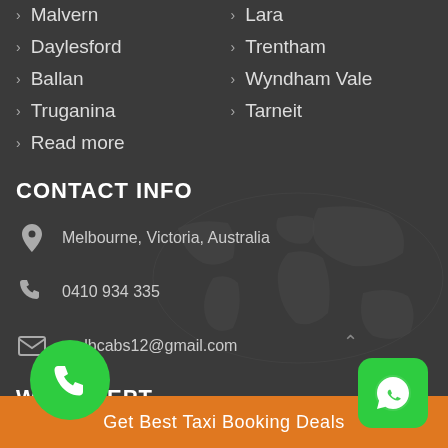Malvern
Lara
Daylesford
Trentham
Ballan
Wyndham Vale
Truganina
Tarneit
Read more
CONTACT INFO
Melbourne, Victoria, Australia
0410 934 335
melbcabs12@gmail.com
WE ACCEPT
Get Best Taxi Booking Deals